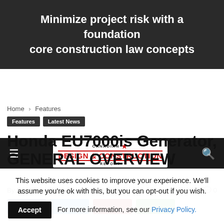[Figure (screenshot): Dark banner with text: Minimize project risk with a foundation core construction law concepts]
Minimize project risk with a foundation core construction law concepts
[Figure (logo): Canadian Design & Construction Report logo]
Home > Features
Features   Latest News
Honda EU7000is Generator, GENERAL OVERVIEW
By Publisher1953 - January 24, 2014  276  0
This website uses cookies to improve your experience. We'll assume you're ok with this, but you can opt-out if you wish. Accept  For more information, see our Privacy Policy.